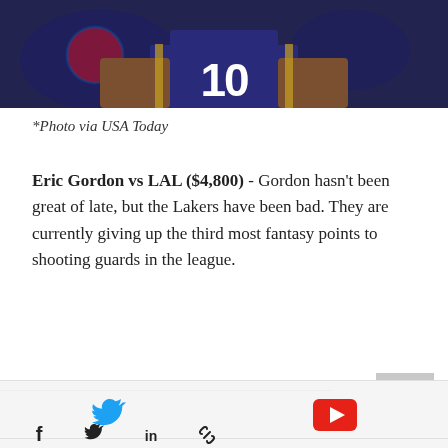[Figure (photo): Basketball player wearing jersey number 10 in a dark navy blue uniform, standing with hands on hips. Pepsi advertisement visible in background. Photo cropped to show torso area only.]
*Photo via USA Today
Eric Gordon vs LAL ($4,800) - Gordon hasn't been great of late, but the Lakers have been bad. They are currently giving up the third most fantasy points to shooting guards in the league.
#NBA #DFS #FanDuel #fantasy #fantasy
[Figure (infographic): Social sharing bar with Facebook, Twitter, LinkedIn, and link icons, and a scroll-to-top button. Footer bar with Twitter bird icon and YouTube play button icon.]